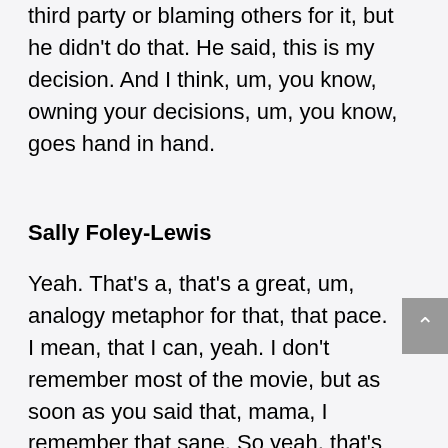third party or blaming others for it, but he didn't do that. He said, this is my decision. And I think, um, you know, owning your decisions, um, you know, goes hand in hand.
Sally Foley-Lewis
Yeah. That's a, that's a great, um, analogy metaphor for that, that pace. I mean, that I can, yeah. I don't remember most of the movie, but as soon as you said that, mama, I remember that sane. So yeah, that's a really strong, powerful, uh, list. So thank you. So I've got one more question for you, Andrew.